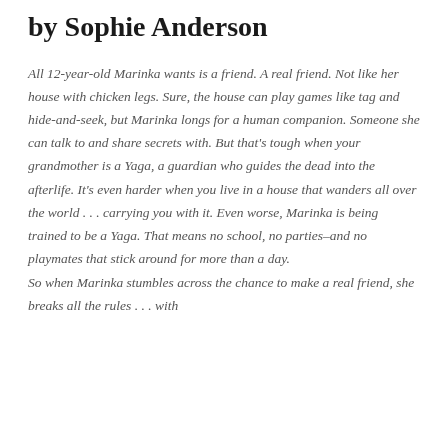by Sophie Anderson
All 12-year-old Marinka wants is a friend. A real friend. Not like her house with chicken legs. Sure, the house can play games like tag and hide-and-seek, but Marinka longs for a human companion. Someone she can talk to and share secrets with. But that's tough when your grandmother is a Yaga, a guardian who guides the dead into the afterlife. It's even harder when you live in a house that wanders all over the world . . . carrying you with it. Even worse, Marinka is being trained to be a Yaga. That means no school, no parties–and no playmates that stick around for more than a day. So when Marinka stumbles across the chance to make a real friend, she breaks all the rules . . . with dangerous consequences that shake her whole world.